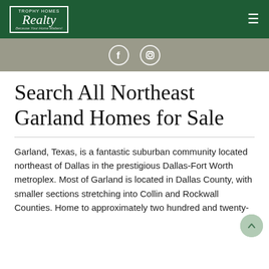Trophy Homes Realty — Because Your Home Matters!
[Figure (photo): Hero image strip showing social media icons (Facebook and Instagram) over a muted room background]
Search All Northeast Garland Homes for Sale
Garland, Texas, is a fantastic suburban community located northeast of Dallas in the prestigious Dallas-Fort Worth metroplex. Most of Garland is located in Dallas County, with smaller sections stretching into Collin and Rockwall Counties. Home to approximately two hundred and twenty-